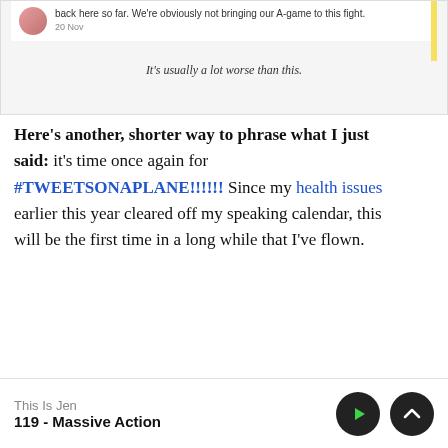[Figure (screenshot): Screenshot of a tweet/social media post with avatar, text about not bringing A-game to a fight, dated 20 Nov, with yellow bookmark bar and caption 'It's usually a lot worse than this.']
Here’s another, shorter way to phrase what I just said: it’s time once again for #TWEETSONAPLANE!!!!!! Since my health issues earlier this year cleared off my speaking calendar, this will be the first time in a long while that I’ve flown.
For those of you who weren’t reading the last
This Is Jen
119 - Massive Action